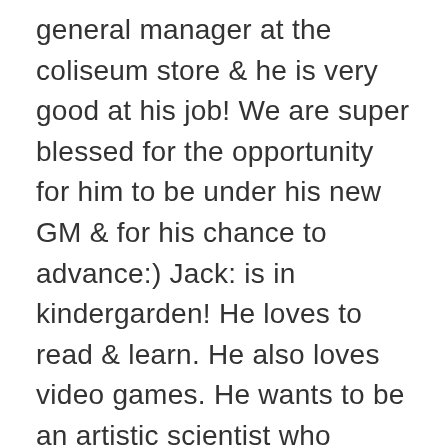general manager at the coliseum store & he is very good at his job! We are super blessed for the opportunity for him to be under his new GM & for his chance to advance:) Jack: is in kindergarden! He loves to read & learn. He also loves video games. He wants to be an artistic scientist who teaches people. He draws everyday & we do lots of experiments. He teaches Jess jr a lot of new things & is still the best big brother! Jack will be 6 in a few weeks! Holy moly! Jess jr: is one yr & 3 mths. He is a bundle of joy! He walks & tries to talk. He’s into everything! He loves to dance & eat & play with his brother. Aside from mama, dada, & jack his first word was “buckle”. He likes to buckle up in his car seat as we sing the “buckle up” song:) Christmas was good. Kids had “he best christmas ever!” & Jess sr & I got awesome surf & to spend fun time wih our families. I made a lot of the gifts this year. Purses for the nieces,